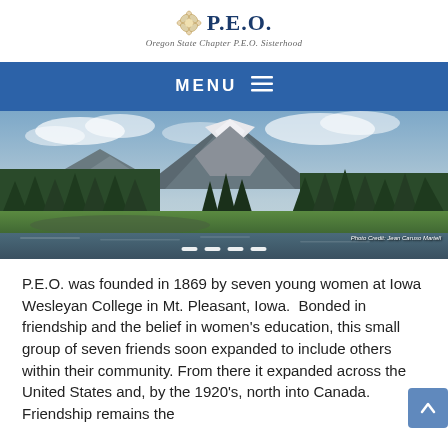P.E.O. — Oregon State Chapter P.E.O. Sisterhood
MENU
[Figure (photo): Scenic landscape photo of a snow-capped mountain (South Sister or similar Oregon Cascades peak) with forested hills, a meadow, and a calm lake in the foreground. Tall evergreen trees in the middle ground. Cloudy sky. Photo credit: Jean Caruso Martell.]
P.E.O. was founded in 1869 by seven young women at Iowa Wesleyan College in Mt. Pleasant, Iowa.  Bonded in friendship and the belief in women's education, this small group of seven friends soon expanded to include others within their community. From there it expanded across the United States and, by the 1920's, north into Canada. Friendship remains the